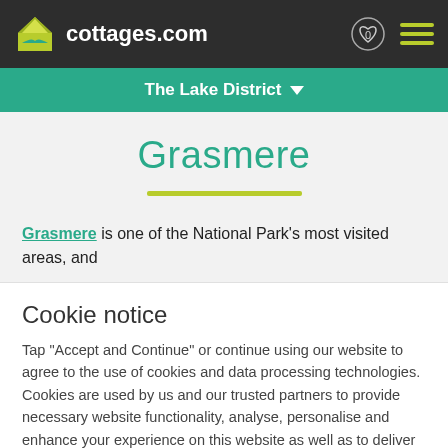cottages.com
The Lake District
Grasmere
Grasmere is one of the National Park's most visited areas, and
Cookie notice
Tap "Accept and Continue" or continue using our website to agree to the use of cookies and data processing technologies. Cookies are used by us and our trusted partners to provide necessary website functionality, analyse, personalise and enhance your experience on this website as well as to deliver tailored holiday-related ads on other websites.
Accept and Continue